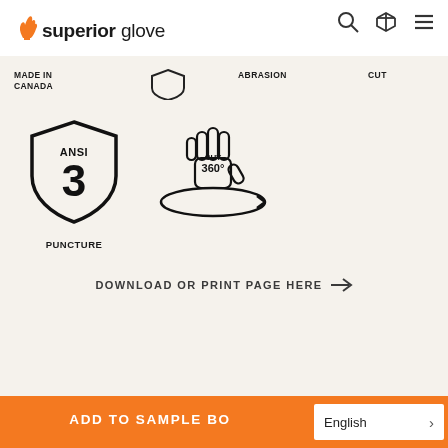Superior Glove
MADE IN CANADA
ABRASION
CUT
[Figure (illustration): ANSI 3 Puncture shield badge icon with text PUNCTURE below]
[Figure (illustration): CUT 360 degree hand icon with circular arrow]
DOWNLOAD OR PRINT PAGE HERE →
DETAILS
ADD TO SAMPLE BO... English >